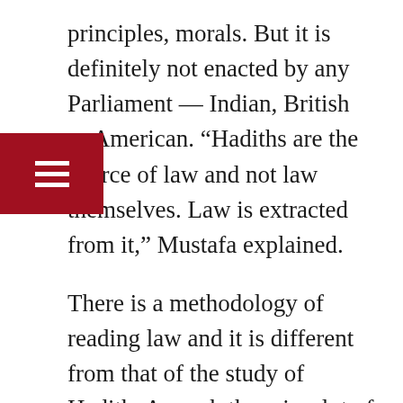principles, morals. But it is definitely not enacted by any Parliament — Indian, British or American. “Hadiths are the source of law and not law themselves. Law is extracted from it,” Mustafa explained.
There is a methodology of reading law and it is different from that of the study of Hadith. As such there is a lot of confusion when they are quoted in the court of law. Translations of Quran and Hadith presented to court are not of good standard and this had a bearing on the verdict. In this connection he cited the recent court verdicts in respect of triple talaq, hijab and age of marriage.
There is some confusion over the authenticity of Hadith. The kind of accuracy that is required...